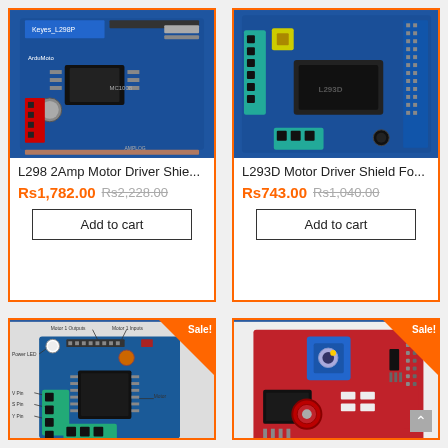[Figure (photo): L298 2Amp Motor Driver Shield PCB - blue circuit board]
L298 2Amp Motor Driver Shie...
Rs1,782.00 Rs2,228.00
Add to cart
[Figure (photo): L293D Motor Driver Shield - blue PCB with terminal blocks]
L293D Motor Driver Shield Fo...
Rs743.00 Rs1,040.00
Add to cart
[Figure (photo): Mini motor driver board with labeled pins - Motor 1 Outputs, Motor 1 Inputs, Power LED, V Pin, S Pin, Y Pin - Sale!]
[Figure (photo): Red sensor module with blue potentiometer - Sale!]